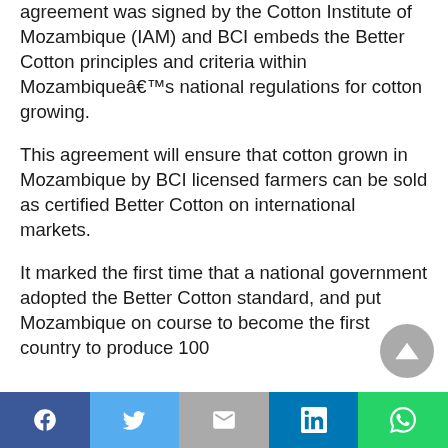agreement was signed by the Cotton Institute of Mozambique (IAM) and BCI embeds the Better Cotton principles and criteria within Mozambiqueâs national regulations for cotton growing.
This agreement will ensure that cotton grown in Mozambique by BCI licensed farmers can be sold as certified Better Cotton on international markets.
It marked the first time that a national government adopted the Better Cotton standard, and put Mozambique on course to become the first country to produce 100...